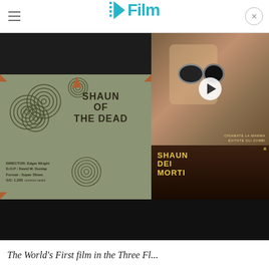/Film
[Figure (screenshot): Screenshot of a film website showing two images: left side shows a dark/black image, right side shows a man with white hair and large circular goggles holding something, with a video play button overlay. Below is a Shaun of the Dead movie poster card showing the film title, concentric circle designs, director info (DIRECTOR: Edgar Wright, D.O.P: David M. Dunlap, Format: Super 35mm, GG: 1.235, common centre), and an Italian poster 'Shaun Dei Morti' with zombie imagery.]
The World's First film in the Three Fl...